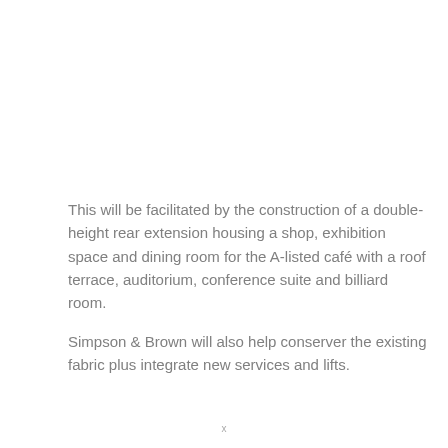This will be facilitated by the construction of a double-height rear extension housing a shop, exhibition space and dining room for the A-listed café with a roof terrace, auditorium, conference suite and billiard room.
Simpson & Brown will also help conserver the existing fabric plus integrate new services and lifts.
x